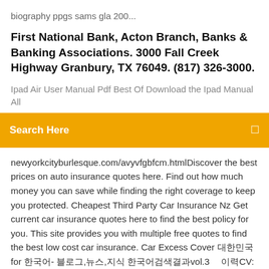biography ppgs sams gla 200...
First National Bank, Acton Branch, Banks & Banking Associations. 3000 Fall Creek Highway Granbury, TX 76049. (817) 326-3000.
Ipad Air User Manual Pdf Best Of Download the Ipad Manual All
Search Here
newyorkcityburlesque.com/avyvfgbfcm.htmlDiscover the best prices on auto insurance quotes here. Find out how much money you can save while finding the right coverage to keep you protected. Cheapest Third Party Car Insurance Nz Get current car insurance quotes here to find the best policy for you. This site provides you with multiple free quotes to find the best low cost car insurance. Car Excess Cover 대한민국 for 한국어- 블 로그,뉴스,지식 한국어검색결과vol.3 　이력CV:이력서 Netherlands Oosterhout